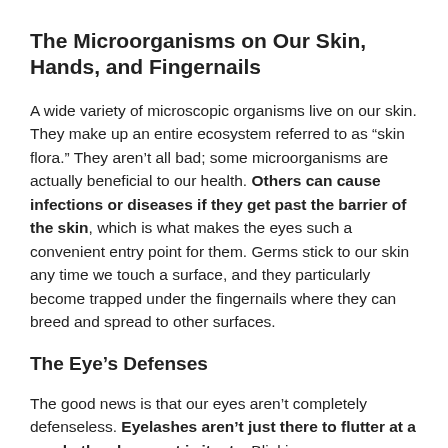The Microorganisms on Our Skin, Hands, and Fingernails
A wide variety of microscopic organisms live on our skin. They make up an entire ecosystem referred to as “skin flora.” They aren’t all bad; some microorganisms are actually beneficial to our health. Others can cause infections or diseases if they get past the barrier of the skin, which is what makes the eyes such a convenient entry point for them. Germs stick to our skin any time we touch a surface, and they particularly become trapped under the fingernails where they can breed and spread to other surfaces.
The Eye’s Defenses
The good news is that our eyes aren’t completely defenseless. Eyelashes aren’t just there to flutter at a crush, they keep out irritants. Blinking sweeps away